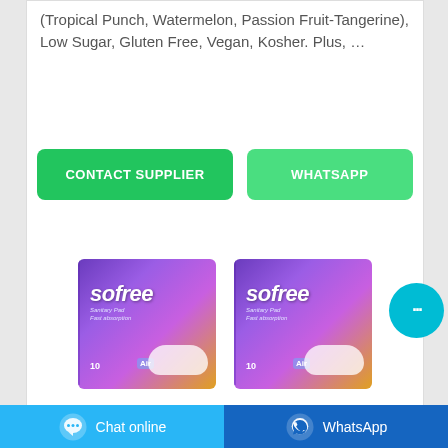(Tropical Punch, Watermelon, Passion Fruit-Tangerine), Low Sugar, Gluten Free, Vegan, Kosher. Plus, …
[Figure (screenshot): Two green buttons: 'CONTACT SUPPLIER' and 'WHATSAPP']
[Figure (photo): Two Sofree Sanitary Pad Fast Absorption product boxes, purple/gradient packaging, 10-pack Air variant]
[Figure (screenshot): Cyan chat bubble floating button with ellipsis icon]
[Figure (screenshot): Bottom bar with 'Chat online' (light blue) and 'WhatsApp' (dark blue) buttons]